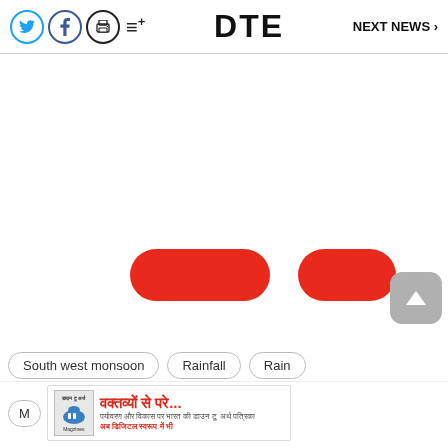DTE  NEXT NEWS
[Figure (other): Large white/blank content area with two red pill-shaped buttons and a grey scroll-up button]
South west monsoon
Rainfall
Rain
[Figure (other): Advertisement banner with Hindi text 'वक्तव्यों से परे...' and subtitle text, with a small thumbnail image on the left]